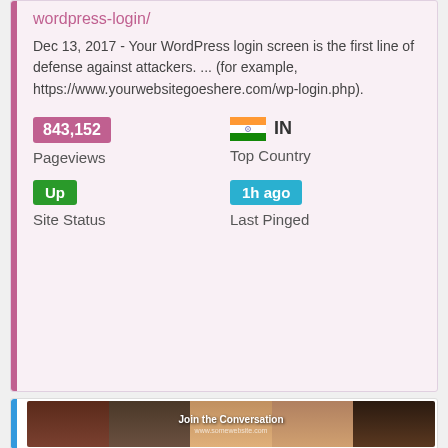wordpress-login/
Dec 13, 2017 - Your WordPress login screen is the first line of defense against attackers. ... (for example, https://www.yourwebsitegoeshere.com/wp-login.php).
843,152
Pageviews
IN
Top Country
Up
Site Status
1h ago
Last Pinged
[Figure (photo): Banner image showing multiple people's faces with text 'Join the Conversation']